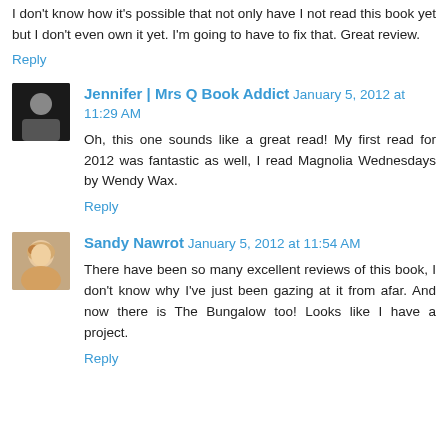I don't know how it's possible that not only have I not read this book yet but I don't even own it yet. I'm going to have to fix that. Great review.
Reply
Jennifer | Mrs Q Book Addict  January 5, 2012 at 11:29 AM
Oh, this one sounds like a great read! My first read for 2012 was fantastic as well, I read Magnolia Wednesdays by Wendy Wax.
Reply
Sandy Nawrot  January 5, 2012 at 11:54 AM
There have been so many excellent reviews of this book, I don't know why I've just been gazing at it from afar. And now there is The Bungalow too! Looks like I have a project.
Reply